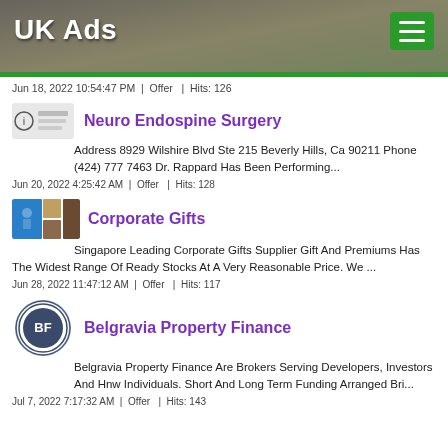UK Ads
Jun 18, 2022 10:54:47 PM  |  Offer  |  Hits: 126
Neuro Endospine Surgery
Address 8929 Wilshire Blvd Ste 215 Beverly Hills, Ca 90211 Phone (424) 777 7463 Dr. Rappard Has Been Performing...
Jun 20, 2022 4:25:42 AM  |  Offer  |  Hits: 128
Corporate Gifts
Singapore Leading Corporate Gifts Supplier Gift And Premiums Has The Widest Range Of Ready Stocks At A Very Reasonable Price. We ...
Jun 28, 2022 11:47:12 AM  |  Offer  |  Hits: 117
Belgravia Property Finance
Belgravia Property Finance Are Brokers Serving Developers, Investors And Hnw Individuals. Short And Long Term Funding Arranged Bri...
Jul 7, 2022 7:17:32 AM  |  Offer  |  Hits: 143